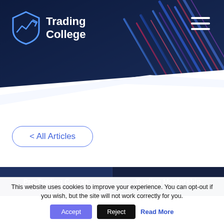[Figure (logo): Trading College logo with shield containing upward arrow/chart icon and text 'Trading College']
[Figure (screenshot): Navigation hamburger menu icon (three white horizontal lines) in top right of dark hero banner]
[Figure (illustration): Dark navy hero banner with colorful light streaks (blue, red, purple) on right side]
< All Articles
Pro-Trading Course
Trading Mentorship
This website uses cookies to improve your experience. You can opt-out if you wish, but the site will not work correctly for you.
Accept
Reject
Read More